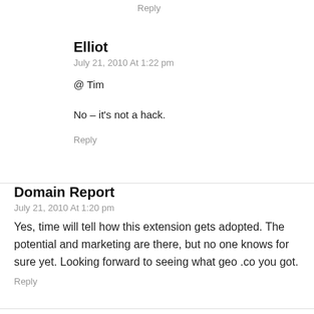Reply
Elliot
July 21, 2010 At 1:22 pm
@ Tim
No – it's not a hack.
Reply
Domain Report
July 21, 2010 At 1:20 pm
Yes, time will tell how this extension gets adopted. The potential and marketing are there, but no one knows for sure yet. Looking forward to seeing what geo .co you got.
Reply